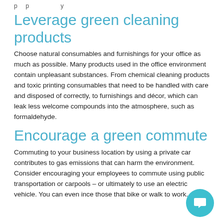…p … p … y …
Leverage green cleaning products
Choose natural consumables and furnishings for your office as much as possible. Many products used in the office environment contain unpleasant substances. From chemical cleaning products and toxic printing consumables that need to be handled with care and disposed of correctly, to furnishings and décor, which can leak less welcome compounds into the atmosphere, such as formaldehyde.
Encourage a green commute
Commuting to your business location by using a private car contributes to gas emissions that can harm the environment. Consider encouraging your employees to commute using public transportation or carpools – or ultimately to use an electric vehicle. You can even ince those that bike or walk to work.